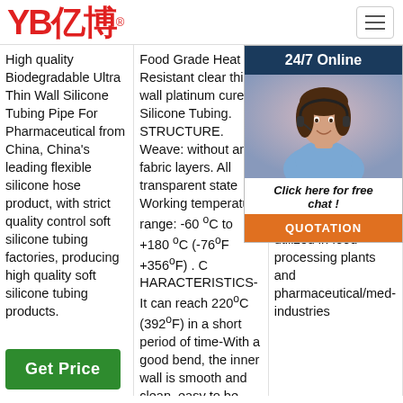YB亿博® logo and navigation
High quality Biodegradable Ultra Thin Wall Silicone Tubing Pipe For Pharmaceutical from China, China's leading flexible silicone hose product, with strict quality control soft silicone tubing factories, producing high quality soft silicone tubing products.
Food Grade Heat Resistant clear thin wall platinum cured Silicone Tubing. STRUCTURE. Weave: without any fabric layers. All transparent state Working temperature range: -60 ºC to +180 ºC (-76ºF +356ºF) . CHARACTERISTICS- It can reach 220ºC (392ºF) in a short period of time-With a good bend, the inner wall is smooth and clean, easy to be washed, no water sticking
Types of Silicone Tubing Regulations. This product utilizes Food Grade FDA approved can number applications typically visually is fully Available in 40, 50, 60, 70 and 80 shore hardness, this is utilized in food processing plants and pharmaceutical/medical industries.
[Figure (photo): Customer service representative woman with headset, 24/7 Online chat widget overlay with dark blue header, photo of smiling woman, 'Click here for free chat!' text, and orange QUOTATION button]
Get Price